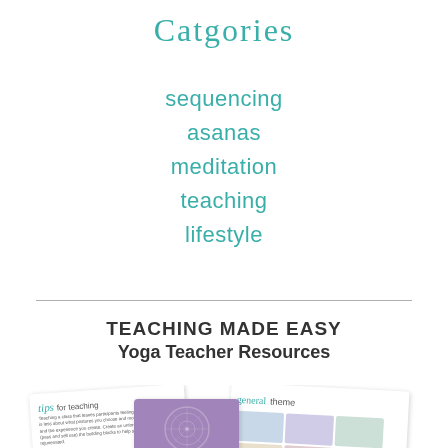Catgories
sequencing
asanas
meditation
teaching
lifestyle
TEACHING MADE EASY
Yoga Teacher Resources
[Figure (photo): Preview of yoga teacher resource cards including a 'tips for teaching' card, a purple mandala card, and a 'general theme' card with yoga pose images in a grid.]